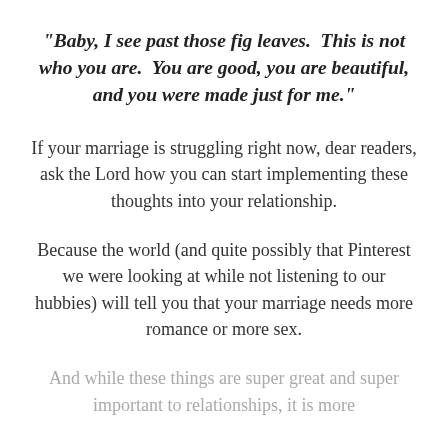“Baby, I see past those fig leaves.  This is not who you are.  You are good, you are beautiful, and you were made just for me.”
If your marriage is struggling right now, dear readers, ask the Lord how you can start implementing these thoughts into your relationship.
Because the world (and quite possibly that Pinterest we were looking at while not listening to our hubbies) will tell you that your marriage needs more romance or more sex.
And while these things are super great and super important to relationships, it is more